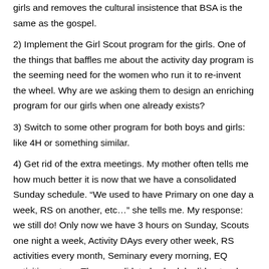girls and removes the cultural insistence that BSA is the same as the gospel.
2) Implement the Girl Scout program for the girls. One of the things that baffles me about the activity day program is the seeming need for the women who run it to re-invent the wheel. Why are we asking them to design an enriching program for our girls when one already exists?
3) Switch to some other program for both boys and girls: like 4H or something similar.
4) Get rid of the extra meetings. My mother often tells me how much better it is now that we have a consolidated Sunday schedule. “We used to have Primary on one day a week, RS on another, etc…” she tells me. My response: we still do! Only now we have 3 hours on Sunday, Scouts one night a week, Activity DAys every other week, RS activities every month, Seminary every morning, EQ activities, etc…. The consolidated schedule did not reduce